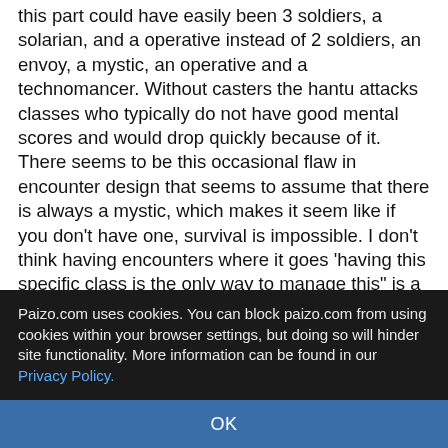this part could have easily been 3 soldiers, a solarian, and a operative instead of 2 soldiers, an envoy, a mystic, an operative and a technomancer. Without casters the hantu attacks classes who typically do not have good mental scores and would drop quickly because of it. There seems to be this occasional flaw in encounter design that seems to assume that there is always a mystic, which makes it seem like if you don't have one, survival is impossible. I don't think having encounters where it goes 'having this specific class is the only way to manage this" is a good idea, and seems counter to one of the benefits I've seen in starfinder that being that people don't have to play hardline roles anymore. You don't necessarily need a dedicated healer. You don't necessarily need a dedicated tank or dps. You don't have to be a mechanic to be a good engineer or a soldier to be
Paizo.com uses cookies. You can block paizo.com from using cookies within your browser settings, but doing so will hinder site functionality. More information can be found in our Privacy Policy.
OK